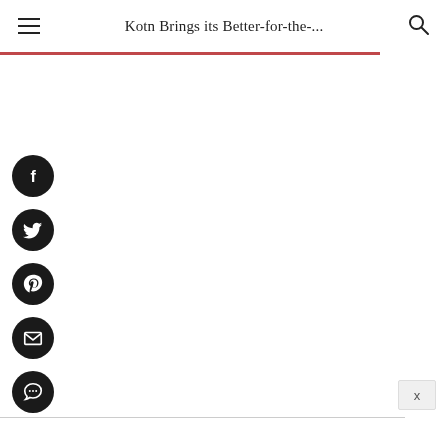Kotn Brings its Better-for-the-...
[Figure (infographic): Vertical stack of 5 social sharing icon buttons: Facebook, Twitter, Pinterest, Email, SMS/Chat — each a dark circular button with white icon]